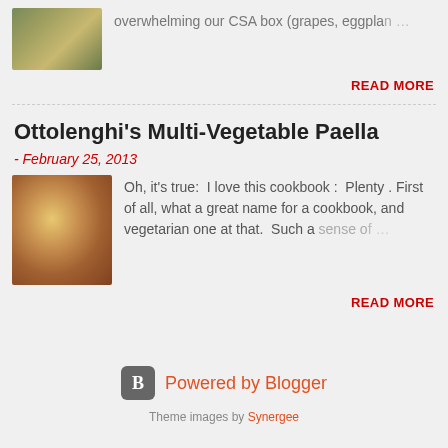[Figure (photo): Small thumbnail photo of food dish]
overwhelming our CSA box (grapes, eggplan … …
READ MORE
Ottolenghi's Multi-Vegetable Paella
- February 25, 2013
[Figure (photo): Photo of vegetable paella dish in pan]
Oh, it's true: I love this cookbook : Plenty . First of all, what a great name for a cookbook, and vegetarian one at that. Such a sense of …
READ MORE
Powered by Blogger
Theme images by Synergee